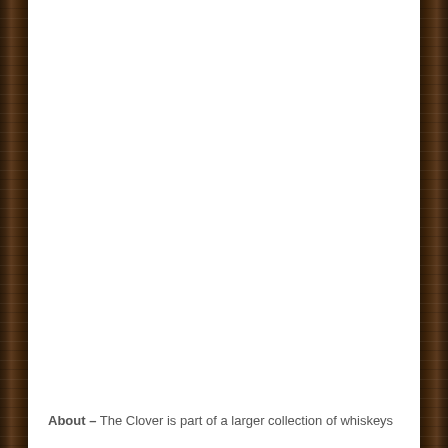About – The Clover is part of a larger collection of whiskeys